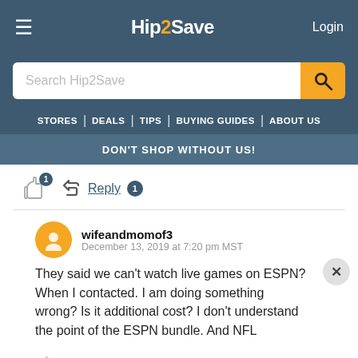Hip2Save — Login
[Figure (screenshot): Search bar with text 'Search Hip2Save' and orange search button]
STORES | DEALS | TIPS | BUYING GUIDES | ABOUT US
DON'T SHOP WITHOUT US!
Reply 1
wifeandmomof3
December 13, 2019 at 7:20 pm MST
They said we can't watch live games on ESPN? When I contacted. I am doing something wrong? Is it additional cost? I don't understand the point of the ESPN bundle. And NFL
Reply 1